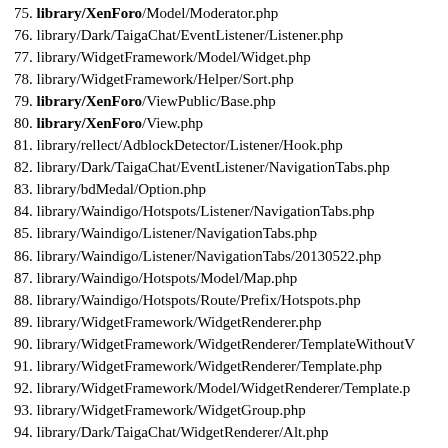75. library/XenForo/Model/Moderator.php
76. library/Dark/TaigaChat/EventListener/Listener.php
77. library/WidgetFramework/Model/Widget.php
78. library/WidgetFramework/Helper/Sort.php
79. library/XenForo/ViewPublic/Base.php
80. library/XenForo/View.php
81. library/rellect/AdblockDetector/Listener/Hook.php
82. library/Dark/TaigaChat/EventListener/NavigationTabs.php
83. library/bdMedal/Option.php
84. library/Waindigo/Hotspots/Listener/NavigationTabs.php
85. library/Waindigo/Listener/NavigationTabs.php
86. library/Waindigo/Listener/NavigationTabs/20130522.php
87. library/Waindigo/Hotspots/Model/Map.php
88. library/Waindigo/Hotspots/Route/Prefix/Hotspots.php
89. library/WidgetFramework/WidgetRenderer.php
90. library/WidgetFramework/WidgetRenderer/TemplateWithoutV
91. library/WidgetFramework/WidgetRenderer/Template.php
92. library/WidgetFramework/Model/WidgetRenderer/Template.p
93. library/WidgetFramework/WidgetGroup.php
94. library/Dark/TaigaChat/WidgetRenderer/Alt.php
95. library/WidgetFramework/Template/Extended.php
96. library/rellect/AdblockDetector/Model/AdBlock.php
97. library/XenForo/Debug.php
98. library/TopUsers/Listener.php
99. library/WidgetFramework/Helper/String.php
100. library/WidgetFramework/Helper/Conditional.p